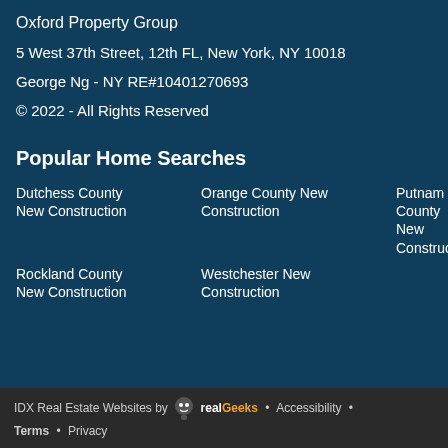Oxford Property Group
5 West 37th Street, 12th FL, New York, NY 10018
George Ng - NY RE#10401270693
© 2022 - All Rights Reserved
Popular Home Searches
Dutchess County New Construction
Orange County New Construction
Putnam County New Construction
Rockland County New Construction
Westchester New Construction
IDX Real Estate Websites by RealGeeks • Accessibility • Terms • Privacy